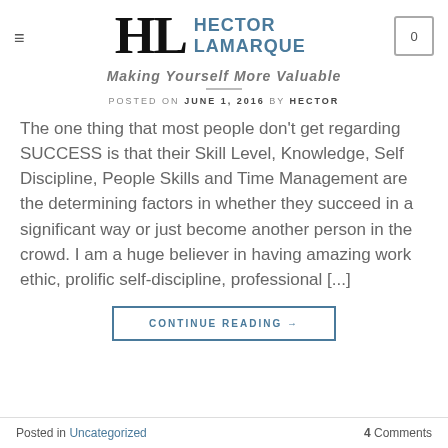HL Hector LaMarque
Making Yourself More Valuable
POSTED ON JUNE 1, 2016 BY HECTOR
The one thing that most people don't get regarding SUCCESS is that their Skill Level, Knowledge, Self Discipline, People Skills and Time Management are the determining factors in whether they succeed in a significant way or just become another person in the crowd. I am a huge believer in having amazing work ethic, prolific self-discipline, professional [...]
CONTINUE READING →
Posted in Uncategorized   4 Comments